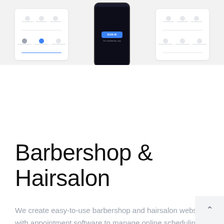[Figure (screenshot): Screenshot of a website/app interface showing a browser mockup with tab navigation icons on the left and right panels, and a mobile phone mockup in the center displaying a sign-in button in blue on a dark screen.]
Barbershop & Hairsalon
We create easy-to-use barbershop and hairsalon websites with appointment software to manage online scheduling and appointments. We also develop